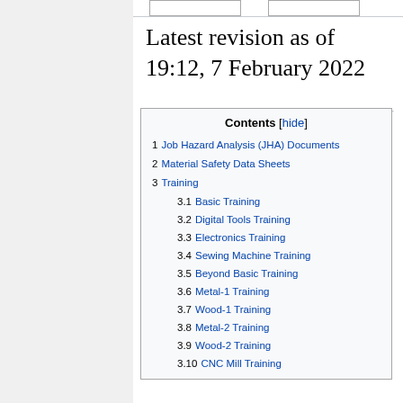Latest revision as of 19:12, 7 February 2022
1  Job Hazard Analysis (JHA) Documents
2  Material Safety Data Sheets
3  Training
3.1  Basic Training
3.2  Digital Tools Training
3.3  Electronics Training
3.4  Sewing Machine Training
3.5  Beyond Basic Training
3.6  Metal-1 Training
3.7  Wood-1 Training
3.8  Metal-2 Training
3.9  Wood-2 Training
3.10  CNC Mill Training